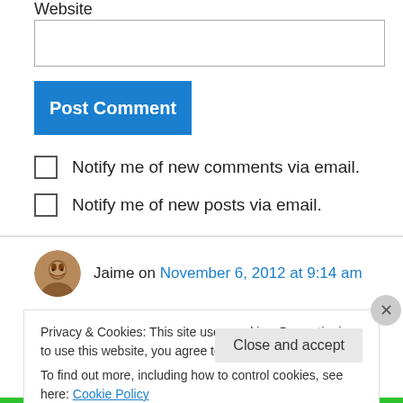Website
Post Comment
Notify me of new comments via email.
Notify me of new posts via email.
Jaime on November 6, 2012 at 9:14 am
Privacy & Cookies: This site uses cookies. By continuing to use this website, you agree to their use. To find out more, including how to control cookies, see here: Cookie Policy
Close and accept